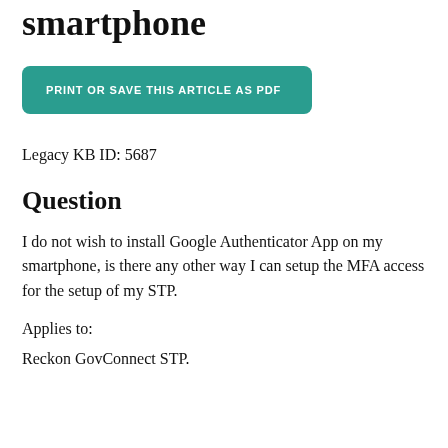smartphone
[Figure (other): Teal button labeled PRINT OR SAVE THIS ARTICLE AS PDF]
Legacy KB ID: 5687
Question
I do not wish to install Google Authenticator App on my smartphone, is there any other way I can setup the MFA access for the setup of my STP.
Applies to:
Reckon GovConnect STP.